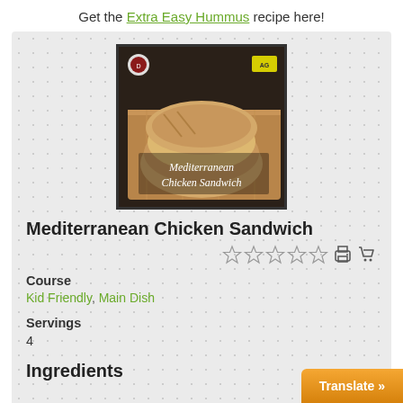Get the Extra Easy Hummus recipe here!
[Figure (photo): Photo of Mediterranean Chicken Sandwich — pita bread sandwiches filled with chicken and vegetables on a wooden board, with text overlay 'Mediterranean Chicken Sandwich']
Mediterranean Chicken Sandwich
☆☆☆☆☆ [print icon] [cart icon]
Course
Kid Friendly, Main Dish
Servings
4
Ingredients